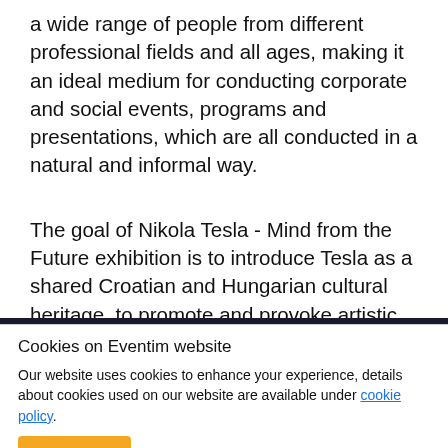a wide range of people from different professional fields and all ages, making it an ideal medium for conducting corporate and social events, programs and presentations, which are all conducted in a natural and informal way.
The goal of Nikola Tesla - Mind from the Future exhibition is to introduce Tesla as a shared Croatian and Hungarian cultural heritage, to promote and provoke artistic excellence, originality, inventiveness and the application of
the latest technologies in the area of visual arts.
Cookies on Eventim website
Our website uses cookies to enhance your experience, details about cookies used on our website are available under cookie policy.
Accept  Change settings